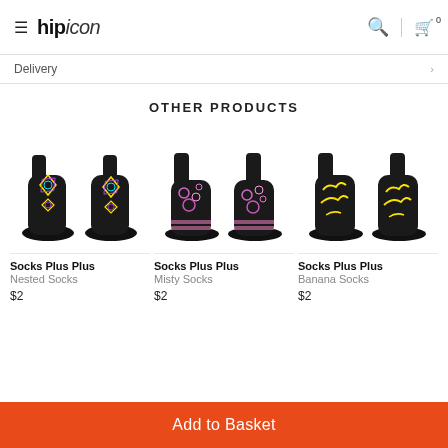hipicon
Delivery
OTHER PRODUCTS
[Figure (photo): Two black socks with colorful geometric/nested pattern (yellow, purple, cyan), worn on legs against white background — Nested Socks]
[Figure (photo): Two black socks with pink and purple floral/misty pattern and horizontal stripes at foot, worn on legs — Misty Socks]
[Figure (photo): Two black socks with yellow banana/abstract pattern, worn on legs — Banana Socks]
Socks Plus Plus
Nested Socks
$2
Socks Plus Plus
Misty Socks
$2
Socks Plus Plus
Banana Socks
$2
Add to Basket